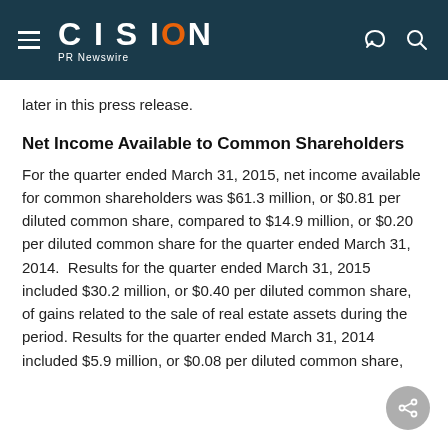CISION PR Newswire
later in this press release.
Net Income Available to Common Shareholders
For the quarter ended March 31, 2015, net income available for common shareholders was $61.3 million, or $0.81 per diluted common share, compared to $14.9 million, or $0.20 per diluted common share for the quarter ended March 31, 2014.  Results for the quarter ended March 31, 2015 included $30.2 million, or $0.40 per diluted common share, of gains related to the sale of real estate assets during the period. Results for the quarter ended March 31, 2014 included $5.9 million, or $0.08 per diluted common share,